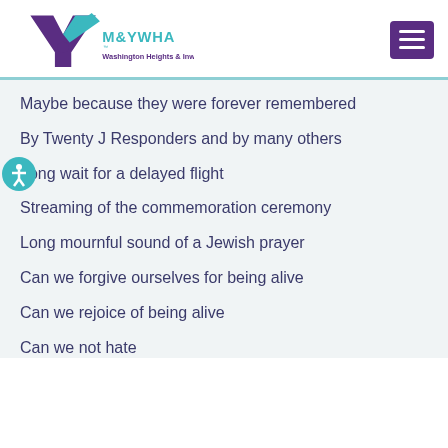[Figure (logo): M&YWHA Washington Heights & Inwood logo with Y shape in purple and teal]
Maybe because they were forever remembered
By Twenty J Responders and by many others
Long wait for a delayed flight
Streaming of the commemoration ceremony
Long mournful sound of a Jewish prayer
Can we forgive ourselves for being alive
Can we rejoice of being alive
Can we not hate